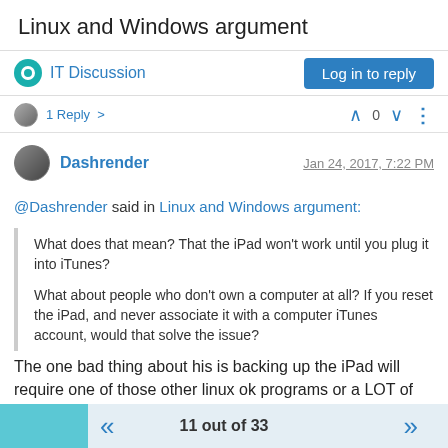Linux and Windows argument
IT Discussion
Log in to reply
1 Reply >   ^  0  v  ⋮
Dashrender
Jan 24, 2017, 7:22 PM
@Dashrender said in Linux and Windows argument:
What does that mean? That the iPad won't work until you plug it into iTunes?

What about people who don't own a computer at all? If you reset the iPad, and never associate it with a computer iTunes account, would that solve the issue?
The one bad thing about his is backing up the iPad will require one of those other linux ok programs or a LOT of storage in iCloud (read $$$$)
11 out of 33